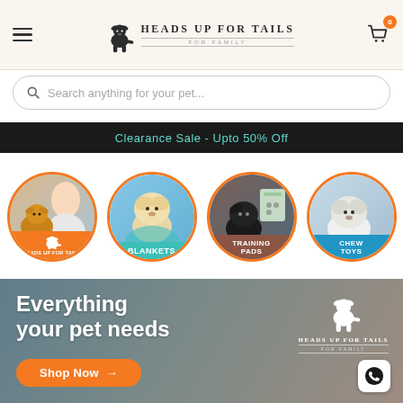[Figure (screenshot): Heads Up For Tails pet store website header with hamburger menu, logo, and cart icon]
Search anything for your pet...
Clearance Sale - Upto 50% Off
[Figure (infographic): Four circular category icons: Heads Up For Tails brand, Blankets, Training Pads, Chew Toys]
Everything your pet needs
Shop Now →